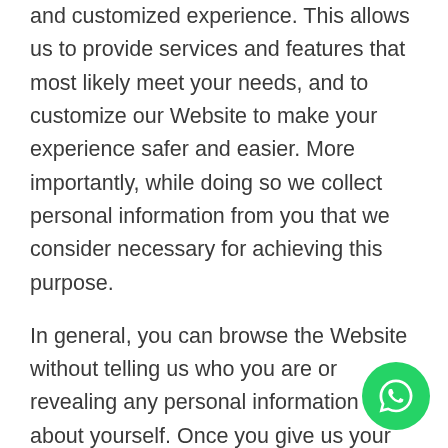and customized experience. This allows us to provide services and features that most likely meet your needs, and to customize our Website to make your experience safer and easier. More importantly, while doing so we collect personal information from you that we consider necessary for achieving this purpose.
In general, you can browse the Website without telling us who you are or revealing any personal information about yourself. Once you give us your personal information, you are not anonymous to us. Where possible, we indicate which fields are required and which fields are optional. You always have the option to not provide information by choosing not to use a particular service or feature on the Website. We may automatically track certain information about you based upon your behavior on our Website. We use this information to do internal research on our users'
[Figure (other): WhatsApp chat button - green circular button with white WhatsApp phone/speech-bubble icon]